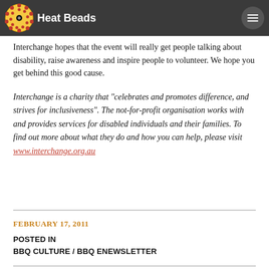Heat Beads
Interchange hopes that the event will really get people talking about disability, raise awareness and inspire people to volunteer. We hope you get behind this good cause.
Interchange is a charity that "celebrates and promotes difference, and strives for inclusiveness". The not-for-profit organisation works with and provides services for disabled individuals and their families. To find out more about what they do and how you can help, please visit www.interchange.org.au
FEBRUARY 17, 2011
POSTED IN
BBQ CULTURE / BBQ ENEWSLETTER